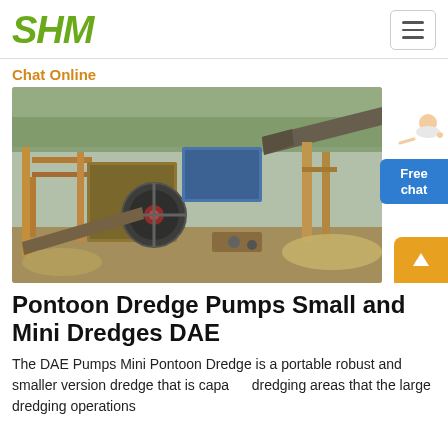SHM
Chat Online
[Figure (photo): Aerial/ground-level photo of an industrial stone crushing or mining operation with conveyors, crushers, and heavy machinery in an outdoor setting.]
Pontoon Dredge Pumps Small and Mini Dredges DAE
The DAE Pumps Mini Pontoon Dredge is a portable robust and smaller version dredge that is capable dredging areas that the large dredging operations